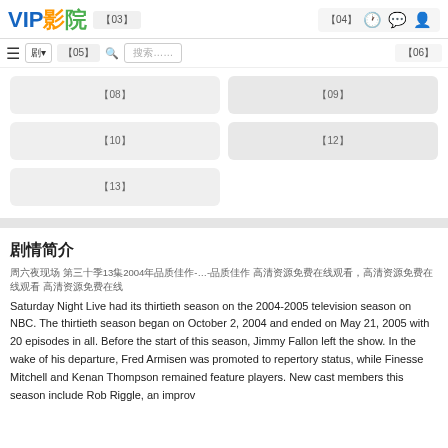VIP影院
【03】
【04】
【05】
搜索……
【06】
【08】
【09】
【10】
【12】
【13】
剧情简介
周六夜现场 第三十季13集2004年品质佳作-…-品质佳作 高清资源免费在线观看，高清资源免费在线观看 高清资源免费在线
Saturday Night Live had its thirtieth season on the 2004-2005 television season on NBC. The thirtieth season began on October 2, 2004 and ended on May 21, 2005 with 20 episodes in all. Before the start of this season, Jimmy Fallon left the show. In the wake of his departure, Fred Armisen was promoted to repertory status, while Finesse Mitchell and Kenan Thompson remained feature players. New cast members this season include Rob Riggle, an improv